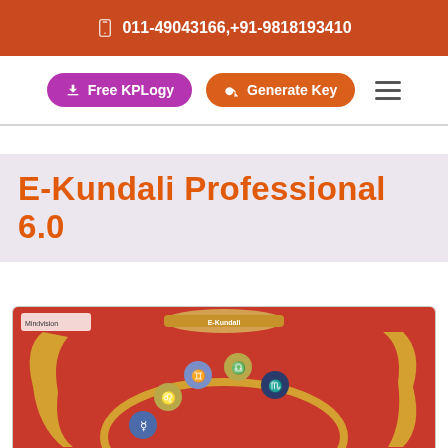011-49043166,+91-9818193410
[Figure (screenshot): Navigation buttons: Free KPLogy (purple rounded button), Generate Key (orange rounded button), hamburger menu icon]
E-Kundali Professional 6.0
[Figure (photo): E-Kundali Professional 6.0 software box — red box with zodiac symbols and scroll artwork, Mindvision branding visible at top left]